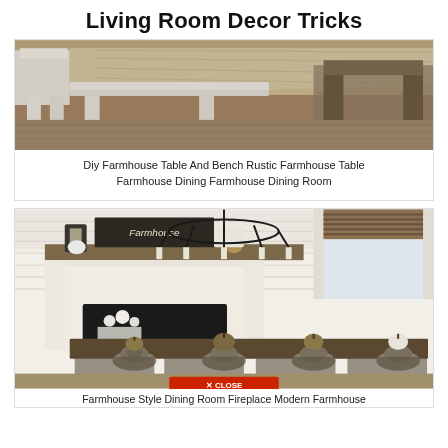Living Room Decor Tricks
[Figure (photo): Farmhouse style dining table with white bench and wooden top, rustic setting]
Diy Farmhouse Table And Bench Rustic Farmhouse Table Farmhouse Dining Farmhouse Dining Room
[Figure (photo): Farmhouse style dining room with fireplace, chandelier, long wooden dining table set with pumpkins and fall decor, shiplap walls]
Farmhouse Style Dining Room Fireplace Modern Farmhouse